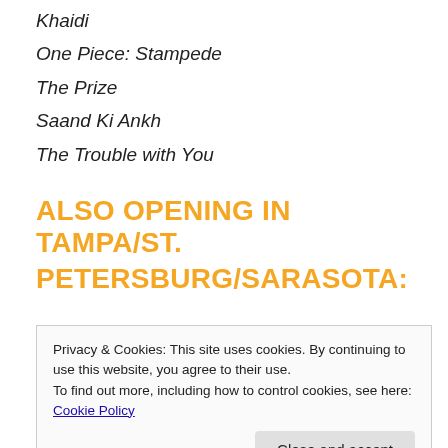Khaidi
One Piece: Stampede
The Prize
Saand Ki Ankh
The Trouble with You
ALSO OPENING IN TAMPA/ST. PETERSBURG/SARASOTA:
Privacy & Cookies: This site uses cookies. By continuing to use this website, you agree to their use.
To find out more, including how to control cookies, see here: Cookie Policy
Close and accept